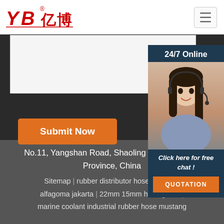[Figure (logo): YB亿博 company logo in red with registered trademark symbol]
[Figure (illustration): Hamburger menu icon button in top right corner]
[Figure (photo): 24/7 Online customer service agent widget with woman wearing headset]
Submit Now
Click here for free chat !
QUOTATION
No.11, Yangshan Road, Shaoling District, Luoyang City, Henan Province, China
Sitemap | rubber distributor hose chemical alfagoma jakarta | 22mm 15mm hose grade | marine coolant industrial rubber hose mustang